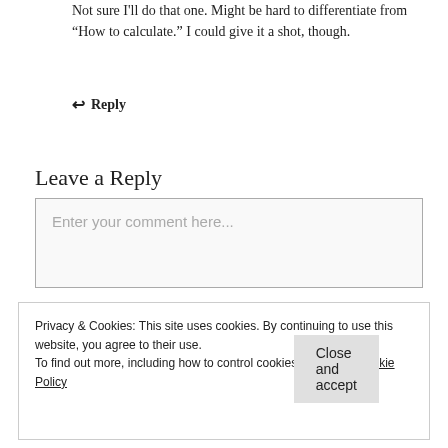Not sure I'll do that one. Might be hard to differentiate from “How to calculate.” I could give it a shot, though.
↩ Reply
Leave a Reply
Enter your comment here...
Privacy & Cookies: This site uses cookies. By continuing to use this website, you agree to their use.
To find out more, including how to control cookies, see here: Cookie Policy
Close and accept